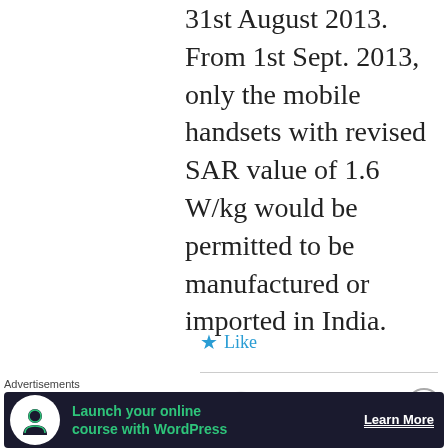31st August 2013. From 1st Sept. 2013, only the mobile handsets with revised SAR value of 1.6 W/kg would be permitted to be manufactured or imported in India.
Like
[Figure (logo): WordPress-style pinwheel logo in red/pink, with username niraik42 to the right]
Advertisements
Launch your online course with WordPress   Learn More